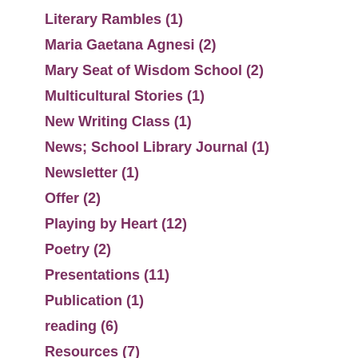Literary Rambles (1)
Maria Gaetana Agnesi (2)
Mary Seat of Wisdom School (2)
Multicultural Stories (1)
New Writing Class (1)
News; School Library Journal (1)
Newsletter (1)
Offer (2)
Playing by Heart (12)
Poetry (2)
Presentations (11)
Publication (1)
reading (6)
Resources (7)
Review (5)
Rosa Sola (7)